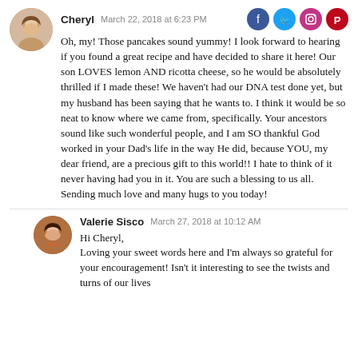[Figure (photo): Round avatar photo of Cheryl, a woman with light skin and brown hair]
Cheryl  March 22, 2018 at 6:23 PM
[Figure (logo): Social media icons: Facebook, Twitter, Instagram, Pinterest]
Oh, my! Those pancakes sound yummy! I look forward to hearing if you found a great recipe and have decided to share it here! Our son LOVES lemon AND ricotta cheese, so he would be absolutely thrilled if I made these! We haven't had our DNA test done yet, but my husband has been saying that he wants to. I think it would be so neat to know where we came from, specifically. Your ancestors sound like such wonderful people, and I am SO thankful God worked in your Dad's life in the way He did, because YOU, my dear friend, are a precious gift to this world!! I hate to think of it never having had you in it. You are such a blessing to us all. Sending much love and many hugs to you today!
[Figure (photo): Round avatar photo of Valerie Sisco, a woman with dark hair and colorful necklace]
Valerie Sisco  March 27, 2018 at 10:12 AM
Hi Cheryl,
Loving your sweet words here and I'm always so grateful for your encouragement! Isn't it interesting to see the twists and turns of our lives